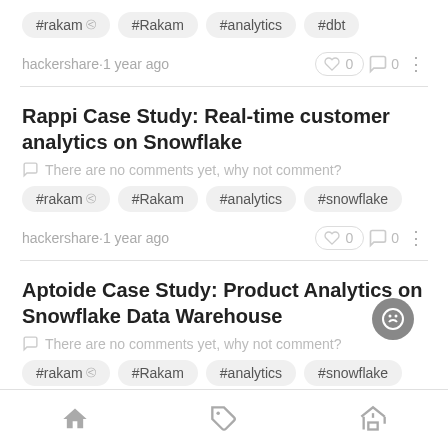#rakam #Rakam #analytics #dbt
hackershare·1 year ago   0   0
Rappi Case Study: Real-time customer analytics on Snowflake
There are no comments yet, why not comment?
#rakam #Rakam #analytics #snowflake
hackershare·1 year ago   0   0
Aptoide Case Study: Product Analytics on Snowflake Data Warehouse
There are no comments yet, why not comment?
#rakam #Rakam #analytics #snowflake
hackershare·1 year ago   0   0
Home  Tag  Education